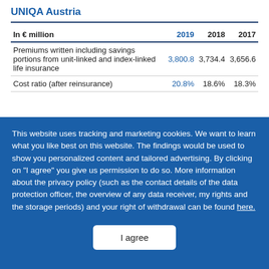UNIQA Austria
| In € million | 2019 | 2018 | 2017 |
| --- | --- | --- | --- |
| Premiums written including savings portions from unit-linked and index-linked life insurance | 3,800.8 | 3,734.4 | 3,656.6 |
| Cost ratio (after reinsurance) | 20.8% | 18.6% | 18.3% |
This website uses tracking and marketing cookies. We want to learn what you like best on this website. The findings would be used to show you personalized content and tailored advertising. By clicking on "I agree" you give us permission to do so. More information about the privacy policy (such as the contact details of the data protection officer, the overview of any data receiver, my rights and the storage periods) and your right of withdrawal can be found here.